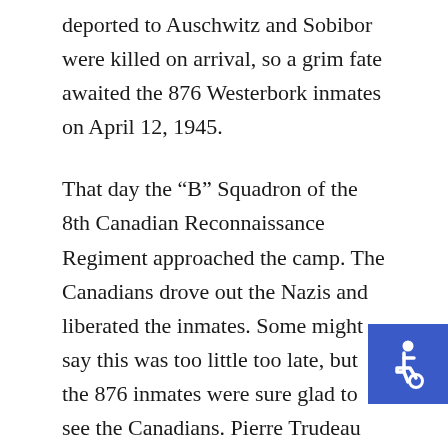deported to Auschwitz and Sobibor were killed on arrival, so a grim fate awaited the 876 Westerbork inmates on April 12, 1945.
That day the “B” Squadron of the 8th Canadian Reconnaissance Regiment approached the camp. The Canadians drove out the Nazis and liberated the inmates. Some might say this was too little too late, but the 876 inmates were sure glad to see the Canadians. Pierre Trudeau wasn’t one of them, and after the war he tilted to the Soviet Bloc.
Pierre Trudeau was not a fan of Poland’s Solidarity movement, but he did support the martial law imposed by Gen. Wojciech Jaruzelski, correctly
[Figure (illustration): Blue square with white wheelchair accessibility icon (person in wheelchair symbol)]